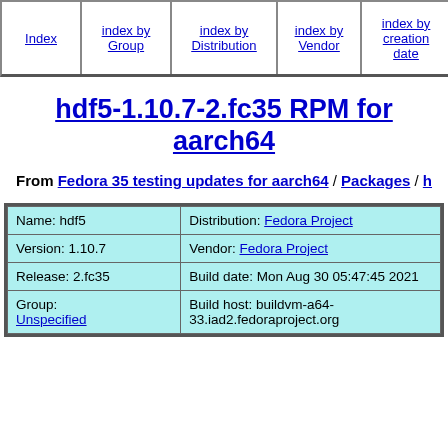Index | index by Group | index by Distribution | index by Vendor | index by creation date | index by Name | Mirr...
hdf5-1.10.7-2.fc35 RPM for aarch64
From Fedora 35 testing updates for aarch64 / Packages / h
|  |  |
| --- | --- |
| Name: hdf5 | Distribution: Fedora Project |
| Version: 1.10.7 | Vendor: Fedora Project |
| Release: 2.fc35 | Build date: Mon Aug 30 05:47:45 2021 |
| Group: Unspecified | Build host: buildvm-a64-33.iad2.fedoraproject.org |